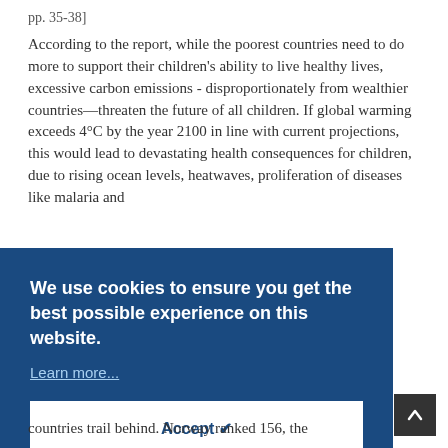pp. 35-38]
According to the report, while the poorest countries need to do more to support their children's ability to live healthy lives, excessive carbon emissions - disproportionately from wealthier countries—threaten the future of all children. If global warming exceeds 4°C by the year 2100 in line with current projections, this would lead to devastating health consequences for children, due to rising ocean levels, heatwaves, proliferation of diseases like malaria and
We use cookies to ensure you get the best possible experience on this website. Learn more...
Accept ✔
countries trail behind. Norway ranked 156, the